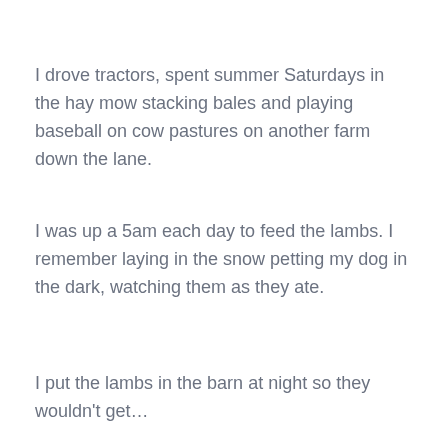I drove tractors, spent summer Saturdays in the hay mow stacking bales and playing baseball on cow pastures on another farm down the lane.
I was up a 5am each day to feed the lambs. I remember laying in the snow petting my dog in the dark, watching them as they ate.
I put the lambs in the barn at night so they wouldn't get…